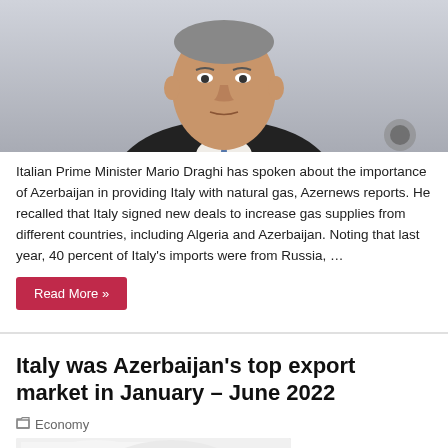[Figure (photo): Photo of Italian Prime Minister Mario Draghi, an older man in a dark suit with a blue tie, serious expression, light gray background]
Italian Prime Minister Mario Draghi has spoken about the importance of Azerbaijan in providing Italy with natural gas, Azernews reports. He recalled that Italy signed new deals to increase gas supplies from different countries, including Algeria and Azerbaijan. Noting that last year, 40 percent of Italy's imports were from Russia, …
Read More »
Italy was Azerbaijan's top export market in January – June 2022
Economy
[Figure (photo): Partial image of what appears to be a cylindrical red and white object, possibly a barrel or rolled item, on a light background]